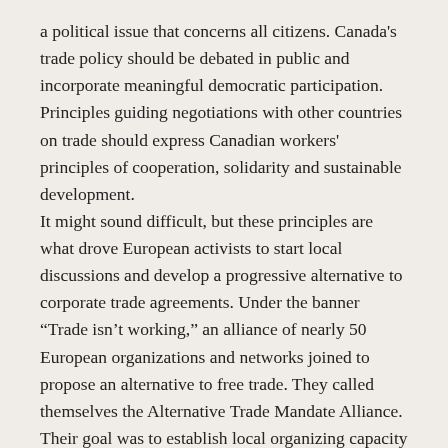a political issue that concerns all citizens. Canada's trade policy should be debated in public and incorporate meaningful democratic participation. Principles guiding negotiations with other countries on trade should express Canadian workers' principles of cooperation, solidarity and sustainable development.
It might sound difficult, but these principles are what drove European activists to start local discussions and develop a progressive alternative to corporate trade agreements. Under the banner “Trade isn’t working,” an alliance of nearly 50 European organizations and networks joined to propose an alternative to free trade. They called themselves the Alternative Trade Mandate Alliance.
Their goal was to establish local organizing capacity so that citizens could participate and be heard in the free trade discussion.